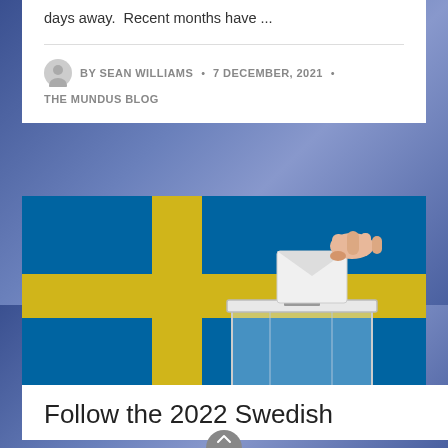days away.  Recent months have ...
BY SEAN WILLIAMS • 7 DECEMBER, 2021 • THE MUNDUS BLOG
[Figure (photo): A hand inserting a ballot into a transparent ballot box, with a Swedish flag in the background (blue with yellow cross).]
Follow the 2022 Swedish